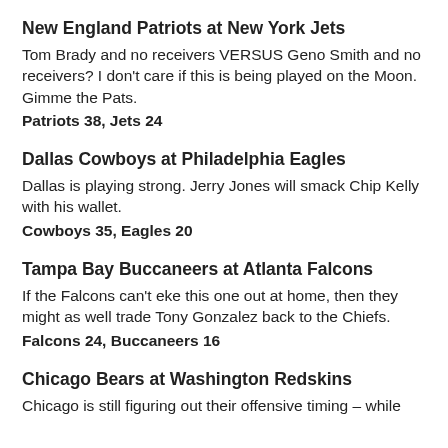New England Patriots at New York Jets
Tom Brady and no receivers VERSUS Geno Smith and no receivers? I don't care if this is being played on the Moon. Gimme the Pats.
Patriots 38, Jets 24
Dallas Cowboys at Philadelphia Eagles
Dallas is playing strong. Jerry Jones will smack Chip Kelly with his wallet.
Cowboys 35, Eagles 20
Tampa Bay Buccaneers at Atlanta Falcons
If the Falcons can't eke this one out at home, then they might as well trade Tony Gonzalez back to the Chiefs.
Falcons 24, Buccaneers 16
Chicago Bears at Washington Redskins
Chicago is still figuring out their offensive timing – while